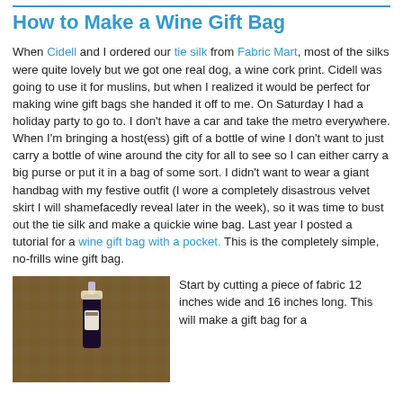How to Make a Wine Gift Bag
When Cidell and I ordered our tie silk from Fabric Mart, most of the silks were quite lovely but we got one real dog, a wine cork print. Cidell was going to use it for muslins, but when I realized it would be perfect for making wine gift bags she handed it off to me. On Saturday I had a holiday party to go to. I don't have a car and take the metro everywhere. When I'm bringing a host(ess) gift of a bottle of wine I don't want to just carry a bottle of wine around the city for all to see so I can either carry a big purse or put it in a bag of some sort. I didn't want to wear a giant handbag with my festive outfit (I wore a completely disastrous velvet skirt I will shamefacedly reveal later in the week), so it was time to bust out the tie silk and make a quickie wine bag. Last year I posted a tutorial for a wine gift bag with a pocket. This is the completely simple, no-frills wine gift bag.
[Figure (photo): A wine bottle wrapped in dark fabric with a wine cork print, placed on a cork/tile patterned surface]
Start by cutting a piece of fabric 12 inches wide and 16 inches long. This will make a gift bag for a